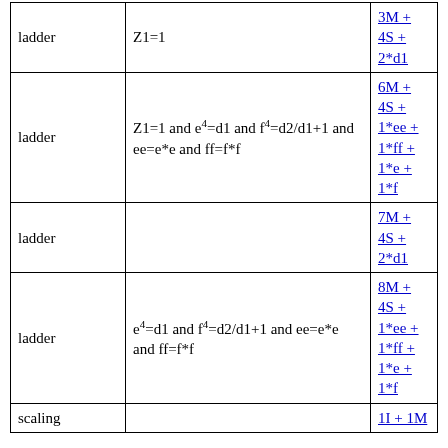|  |  |  |
| --- | --- | --- |
| ladder | Z1=1 | 3M + 4S + 2*d1 |
| ladder | Z1=1 and e⁴=d1 and f⁴=d2/d1+1 and ee=e*e and ff=f*f | 6M + 4S + 1*ee + 1*ff + 1*e + 1*f |
| ladder |  | 7M + 4S + 2*d1 |
| ladder | e⁴=d1 and f⁴=d2/d1+1 and ee=e*e and ff=f*f | 8M + 4S + 1*ee + 1*ff + 1*e + 1*f |
| scaling |  | 1I + 1M |
Explicit formulas for addition
Explicit formulas for doubling
The "dbl-2008-blr-1" doubling formulas [database entry; Sage verification script; Sage output; three-operand code]:
Cost: 1M + 3S + 1*d1 + 2add.
Source: 2008 Bernstein–Lange–Rezaeian Farashahi.
Explicit formulas: